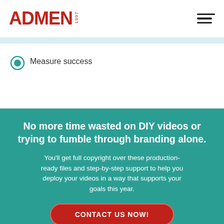ADMEN 1997
Measure success
No more time wasted on DIY videos or trying to fumble through branding alone.
You'll get full copyright over these production-ready files and step-by-step support to help you deploy your videos in a way that supports your goals this year.
CONTACT US NOW!